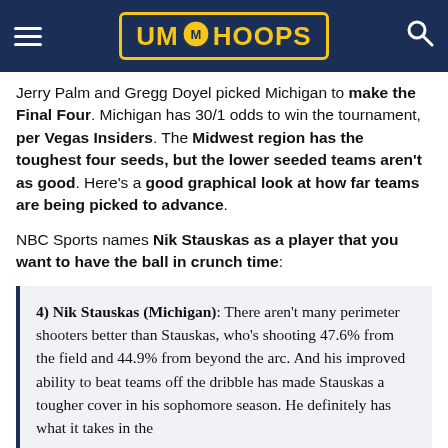UM HOOPS
Jerry Palm and Gregg Doyel picked Michigan to make the Final Four. Michigan has 30/1 odds to win the tournament, per Vegas Insiders. The Midwest region has the toughest four seeds, but the lower seeded teams aren't as good. Here's a good graphical look at how far teams are being picked to advance.
NBC Sports names Nik Stauskas as a player that you want to have the ball in crunch time:
4) Nik Stauskas (Michigan): There aren't many perimeter shooters better than Stauskas, who's shooting 47.6% from the field and 44.9% from beyond the arc. And his improved ability to beat teams off the dribble has made Stauskas a tougher cover in his sophomore season. He definitely has what it takes in the…